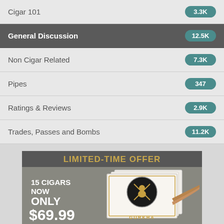Cigar 101
General Discussion
Non Cigar Related
Pipes
Ratings & Reviews
Trades, Passes and Bombs
[Figure (infographic): Advertisement banner: LIMITED-TIME OFFER — 15 CIGARS NOW ONLY $69.99, showing Gurkha cigar boxes and a cigar]